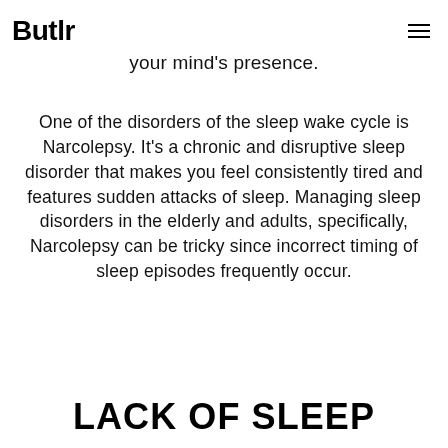Butlr
your mind's presence.
One of the disorders of the sleep wake cycle is Narcolepsy. It's a chronic and disruptive sleep disorder that makes you feel consistently tired and features sudden attacks of sleep. Managing sleep disorders in the elderly and adults, specifically, Narcolepsy can be tricky since incorrect timing of sleep episodes frequently occur.
LACK OF SLEEP